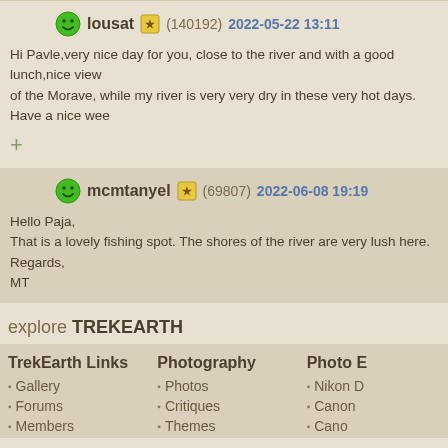lousat (140192) 2022-05-22 13:11
Hi Pavle,very nice day for you, close to the river and with a good lunch,nice view of the Morave, while my river is very very dry in these very hot days. Have a nice week
mcmtanyel (69807) 2022-06-08 19:19
Hello Paja,
That is a lovely fishing spot. The shores of the river are very lush here.
Regards,
MT
explore TREKEARTH
TrekEarth Links
Gallery
Forums
Members
Photography
Photos
Critiques
Themes
Photo E
Nikon D
Canon
Cano